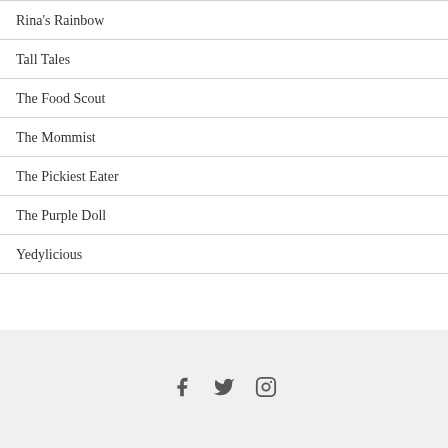Rina's Rainbow
Tall Tales
The Food Scout
The Mommist
The Pickiest Eater
The Purple Doll
Yedylicious
Social media icons: Facebook, Twitter, Instagram